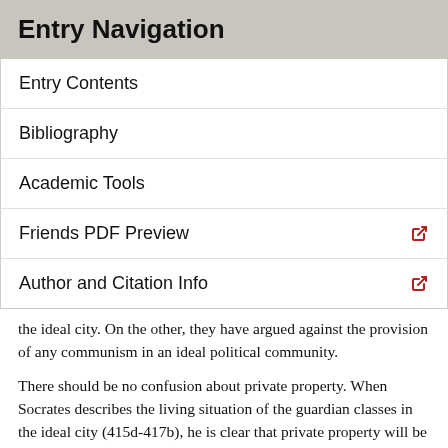Entry Navigation
Entry Contents
Bibliography
Academic Tools
Friends PDF Preview
Author and Citation Info
the ideal city. On the other, they have argued against the provision of any communism in an ideal political community.
There should be no confusion about private property. When Socrates describes the living situation of the guardian classes in the ideal city (415d-417b), he is clear that private property will be sharply limited, and when he discusses the kinds of regulations the rulers need to have in place for the whole city (421c ff.), he is clear that the producers will have enough private property to make the regulation of wealth and poverty a concern. But confusion